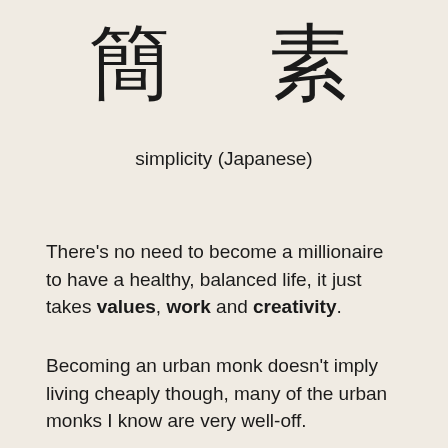簡 素
simplicity (Japanese)
There’s no need to become a millionaire to have a healthy, balanced life, it just takes values, work and creativity.
Becoming an urban monk doesn’t imply living cheaply though, many of the urban monks I know are very well-off.